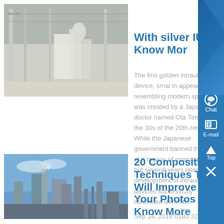[Figure (photo): Interior of an industrial building with large white equipment/machinery]
With silver IUD - Know More
The first golden intrauterine device, small in appearance resembling modern spiral was created by a Japanese doctor named Ota Tenryu in the 30s of the 20th century. While the Japanese government banned the use of a means of contraception, but several years later the development of intrauterine devices successfully continued Benefits...
[Figure (photo): Industrial facility or factory with tall structures against a blue sky]
20 Composition Techniques That Will Improve Your Photos - Know More
Sep 14, 2016 0183 32 20 Composition Techniques That Will Improve Your